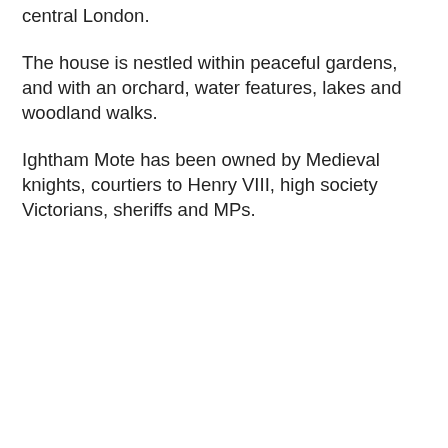central London.
The house is nestled within peaceful gardens, and with an orchard, water features, lakes and woodland walks.
Ightham Mote has been owned by Medieval knights, courtiers to Henry VIII, high society Victorians, sheriffs and MPs.